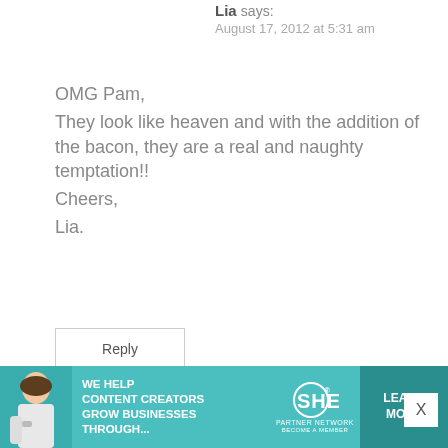Lia says:
August 17, 2012 at 5:31 am
OMG Pam,
They look like heaven and with the addition of the bacon, they are a real and naughty temptation!!
Cheers,
Lia.
Reply
Betty says:
August 17, 2012 at 5:35 am
[Figure (infographic): SHE Partner Network advertisement banner with teal background, woman photo, text 'We help content creators grow businesses through...', SHE logo, and Learn More button]